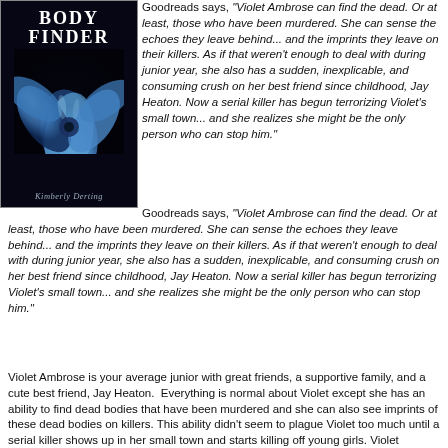[Figure (illustration): Book cover of 'The Body Finder' by Kimberly Derting. Dark background with a large blue flower. White bold text reads 'BODY FINDER'. Author name in cursive at the bottom.]
Goodreads says, "Violet Ambrose can find the dead. Or at least, those who have been murdered. She can sense the echoes they leave behind... and the imprints they leave on their killers. As if that weren't enough to deal with during junior year, she also has a sudden, inexplicable, and consuming crush on her best friend since childhood, Jay Heaton. Now a serial killer has begun terrorizing Violet's small town... and she realizes she might be the only person who can stop him."
Violet Ambrose is your average junior with great friends, a supportive family, and a cute best friend, Jay Heaton.  Everything is normal about Violet except she has an ability to find dead bodies that have been murdered and she can also see imprints of these dead bodies on killers. This ability didn't seem to plague Violet too much until a serial killer shows up in her small town and starts killing off young girls. Violet realizes that she must help catch this killer by using her gift.  The Body Finder by